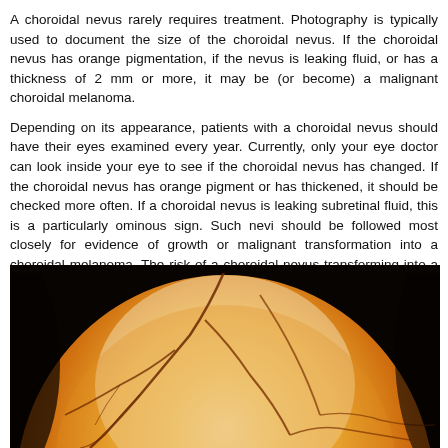A choroidal nevus rarely requires treatment. Photography is typically used to document the size of the choroidal nevus. If the choroidal nevus has orange pigmentation, if the nevus is leaking fluid, or has a thickness of 2 mm or more, it may be (or become) a malignant choroidal melanoma.
Depending on its appearance, patients with a choroidal nevus should have their eyes examined every year. Currently, only your eye doctor can look inside your eye to see if the choroidal nevus has changed. If the choroidal nevus has orange pigment or has thickened, it should be checked more often. If a choroidal nevus is leaking subretinal fluid, this is a particularly ominous sign. Such nevi should be followed most closely for evidence of growth or malignant transformation into a choroidal melanoma. The risk of a choroidal nevus transforming into a choroidal melanoma is about 1 in 20,000.
[Figure (photo): Close-up medical photograph of a choroidal nevus as seen through an ophthalmoscope. The image shows the interior of the eye with orange and yellow pigmentation, blood vessels visible as dark branching lines across the surface, against a dark/black background at the edges.]